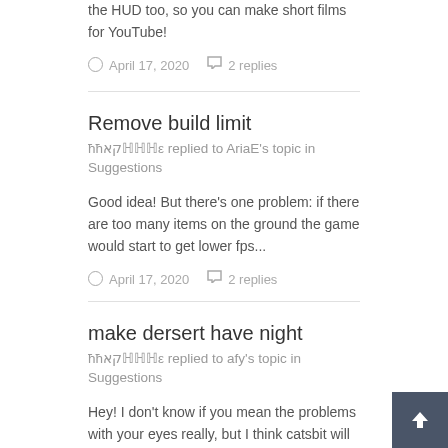the HUD too, so you can make short films for YouTube!
April 17, 2020    2 replies
Remove build limit
ħħקאℍℍℍε replied to AriaE's topic in Suggestions
Good idea! But there's one problem: if there are too many items on the ground the game would start to get lower fps...
April 17, 2020    2 replies
make dersert have night
ħħקאℍℍℍε replied to afy's topic in Suggestions
Hey! I don't know if you mean the problems with your eyes really, but I think catsbit will see this soon! Keep up with...
April 17, 2020    4 replies